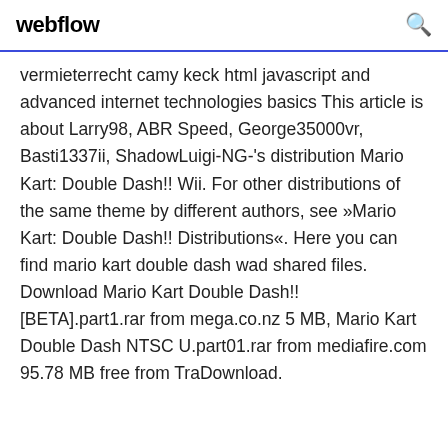webflow
vermieterrecht camy keck html javascript and advanced internet technologies basics This article is about Larry98, ABR Speed, George35000vr, Basti1337ii, ShadowLuigi-NG-'s distribution Mario Kart: Double Dash!! Wii. For other distributions of the same theme by different authors, see »Mario Kart: Double Dash!! Distributions«. Here you can find mario kart double dash wad shared files. Download Mario Kart Double Dash!! [BETA].part1.rar from mega.co.nz 5 MB, Mario Kart Double Dash NTSC U.part01.rar from mediafire.com 95.78 MB free from TraDownload.